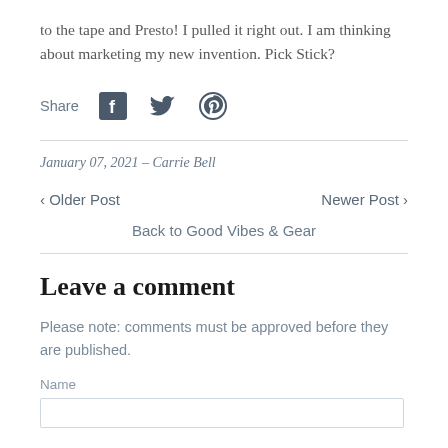to the tape and Presto!  I pulled it right out.  I am thinking about marketing my new invention. Pick Stick?
Share
January 07, 2021 – Carrie Bell
< Older Post
Newer Post >
Back to Good Vibes & Gear
Leave a comment
Please note: comments must be approved before they are published.
Name